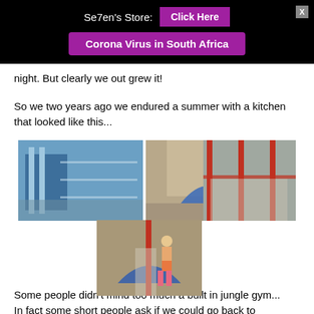Se7en's Store: [Click Here] [Corona Virus in South Africa]
night. But clearly we out grew it!
So we two years ago we endured a summer with a kitchen that looked like this...
[Figure (photo): Collage of four construction/renovation photos showing a kitchen under construction with scaffolding, bare concrete walls, blue arch, steel supports, and a person standing inside the unfinished space.]
Some people didn't mind too much a built in jungle gym...
In fact some short people ask if we could go back to